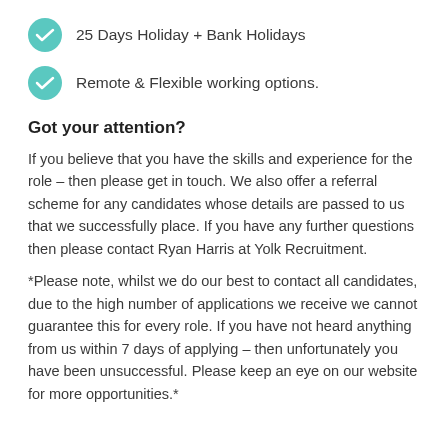25 Days Holiday + Bank Holidays
Remote & Flexible working options.
Got your attention?
If you believe that you have the skills and experience for the role – then please get in touch. We also offer a referral scheme for any candidates whose details are passed to us that we successfully place. If you have any further questions then please contact Ryan Harris at Yolk Recruitment.
*Please note, whilst we do our best to contact all candidates, due to the high number of applications we receive we cannot guarantee this for every role. If you have not heard anything from us within 7 days of applying – then unfortunately you have been unsuccessful. Please keep an eye on our website for more opportunities.*